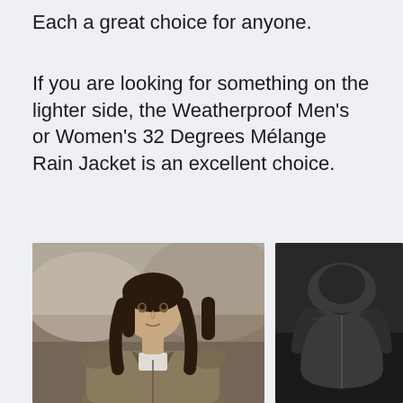Each a great choice for anyone.
If you are looking for something on the lighter side, the Weatherproof Men's or Women's 32 Degrees Mélange Rain Jacket is an excellent choice.
[Figure (photo): A woman wearing a tan/khaki Weatherproof Mélange Rain Jacket outdoors, with blurred background]
[Figure (photo): A black hooded rain jacket product shot on a dark background]